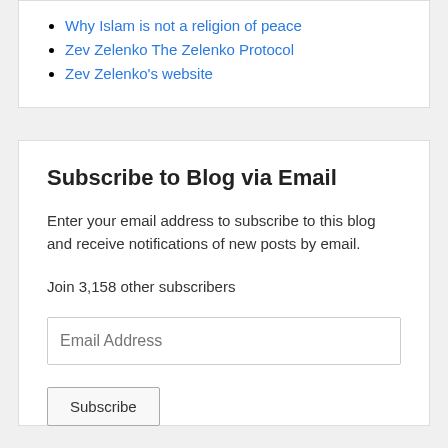Why Islam is not a religion of peace
Zev Zelenko The Zelenko Protocol
Zev Zelenko's website
Subscribe to Blog via Email
Enter your email address to subscribe to this blog and receive notifications of new posts by email.
Join 3,158 other subscribers